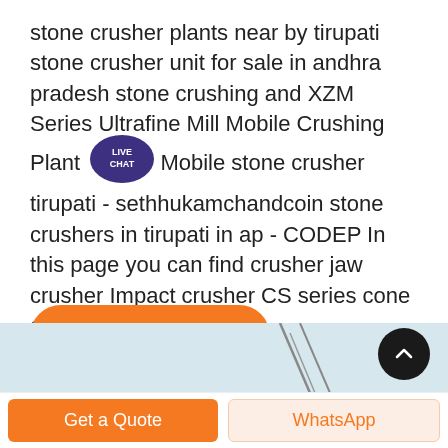stone crusher plants near by tirupati stone crusher unit for sale in andhra pradesh stone crushing and XZM Series Ultrafine Mill Mobile Crushing Plant Mobile stone crusher tirupati - sethhukamchandcoin stone crushers in tirupati in ap - CODEP In this page you can find crusher jaw crusher Impact crusher CS series cone crusher
[Figure (screenshot): Live Chat badge - circular dark purple badge with text LIVE CHAT and speech bubble graphic]
[Figure (other): Orange rounded rectangle button labeled Get price]
[Figure (photo): Partial image strip at bottom showing light blue background with machinery/equipment silhouette]
[Figure (other): Black circular scroll-to-top button with upward chevron arrow]
[Figure (other): Bottom navigation bar with orange Get a Quote button on left and WhatsApp button on right]